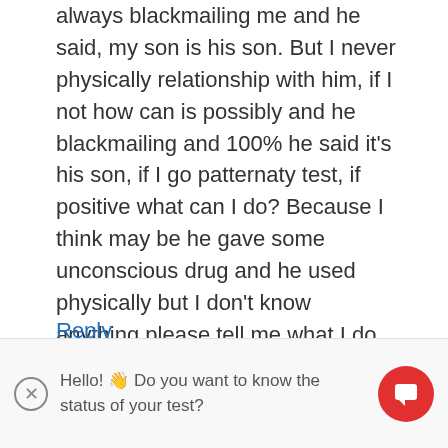always blackmailing me and he said, my son is his son. But I never physically relationship with him, if I not how can is possibly and he blackmailing and 100% he said it's his son, if I go patternaty test, if positive what can I do? Because I think may be he gave some unconscious drug and he used physically but I don't know anything please tell me what I do for this problem?thanks
Reply
Hello! 👋 Do you want to know the status of your test?